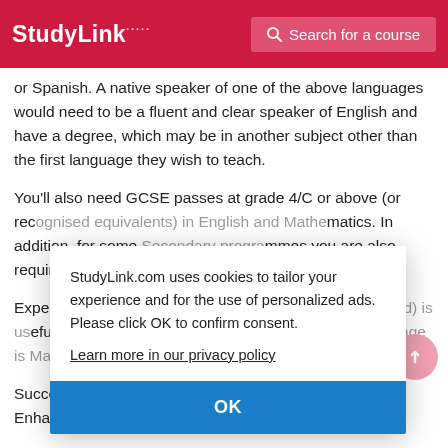StudyLink | Search for a course
or Spanish. A native speaker of one of the above languages would need to be a fluent and clear speaker of English and have a degree, which may be in another subject other than the first language they wish to teach.
You'll also need GCSE passes at grade 4/C or above (or recognised equivalents) in English and Mathematics. In addition, for some Secondary programmes you are also required to have an A-level in the subject.
Expertise in a second Modern Language (previously listed) is useful, but not required if it is not possible. second language is Mandarin.
Successful completion of a Modern Languages Enhancement Course is also acceptable in addition to
StudyLink.com uses cookies to tailor your experience and for the use of personalized ads. Please click OK to confirm consent.
Learn more in our privacy policy
OK